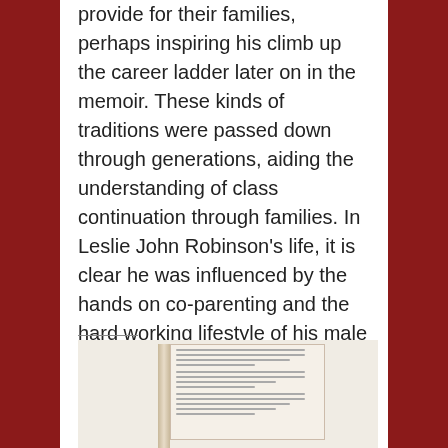provide for their families, perhaps inspiring his climb up the career ladder later on in the memoir. These kinds of traditions were passed down through generations, aiding the understanding of class continuation through families. In Leslie John Robinson's life, it is clear he was influenced by the hands on co-parenting and the hard working lifestyle of his male predecessors. He appears to enjoy living a working- class lifestyle.
[Figure (photo): A photograph of an open book showing two pages of text, with a visible spine in the center. The pages contain small printed text arranged in paragraphs.]